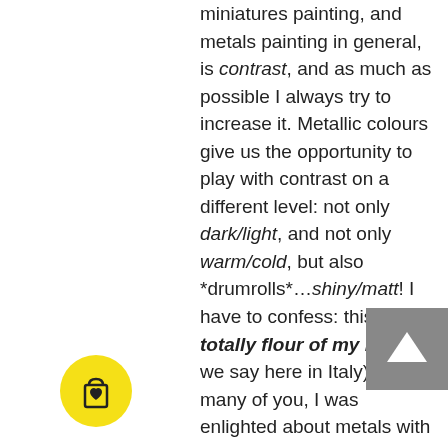miniatures painting, and metals painting in general, is contrast, and as much as possible I always try to increase it. Metallic colours give us the opportunity to play with contrast on a different level: not only dark/light, and not only warm/cold, but also *drumrolls*...shiny/matt! I have to confess: this is not totally flour of my bag (as we say here in Italy). As many of you, I was enlighted about metals with the legendary Automato's Tutorial. Unfortunately, I've found only this link about it that has no images, but even just the theory part is gold: give it a read. So, I was saying: contrast. When I paint metals with metallic colours, I paint in the same way that I (try
[Figure (illustration): Back-to-top button (grey square with white upward arrow)]
[Figure (illustration): Yellow circular shopping bag icon with heart]